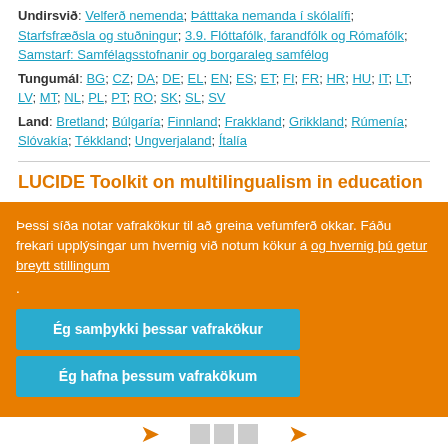Undirsvið: Velferð nemenda; Þátttaka nemanda í skólalífi; Starfsfræðsla og stuðningur; 3.9. Flóttafólk, farandfólk og Rómafólk; Samstarf: Samfélagsstofnanir og borgaraleg samfélog
Tungumál: BG; CZ; DA; DE; EL; EN; ES; ET; FI; FR; HR; HU; IT; LT; LV; MT; NL; PL; PT; RO; SK; SL; SV
Land: Bretland; Búlgaría; Finnland; Frakkland; Grikkland; Rúmenía; Slóvakía; Tékkland; Ungverjaland; Ítalía
LUCIDE Toolkit on multilingualism in education
Þessi síða notar vafrakökur til að greina vefumferð okkar. Fáðu frekari upplýsingar um hvernig við notum kökur á og hvernig þú getur breytt stillingum .
Ég samþykki þessar vafrakökur
Ég hafna þessum vafrakökum